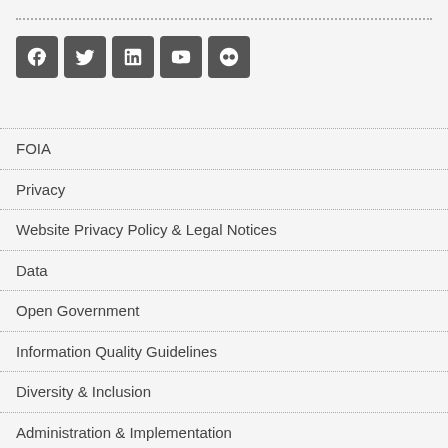[Figure (other): Row of five social media icon buttons: Facebook, Twitter, LinkedIn, YouTube, Flickr]
FOIA
Privacy
Website Privacy Policy & Legal Notices
Data
Open Government
Information Quality Guidelines
Diversity & Inclusion
Administration & Implementation